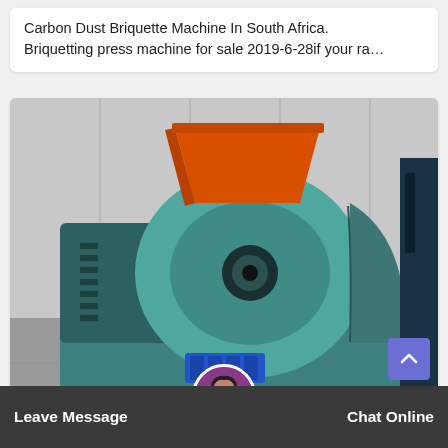Carbon Dust Briquette Machine In South Africa. Briquetting press machine for sale 2019-6-28if your ra...
[Figure (photo): A large industrial carbon dust briquette press machine painted in teal/green color with an orange hopper on top, photographed in a factory/warehouse setting with grey corrugated metal walls and concrete floor.]
Leave Message
Chat Online